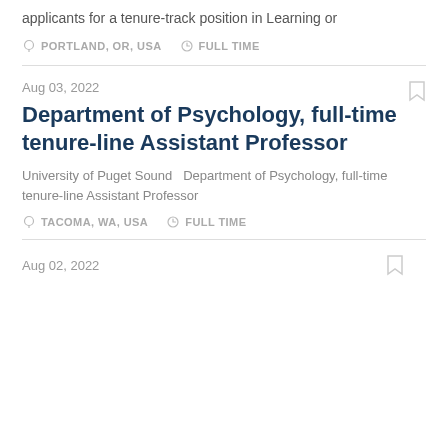applicants for a tenure-track position in Learning or
PORTLAND, OR, USA   FULL TIME
Aug 03, 2022
Department of Psychology, full-time tenure-line Assistant Professor
University of Puget Sound   Department of Psychology, full-time tenure-line Assistant Professor
TACOMA, WA, USA   FULL TIME
Aug 02, 2022